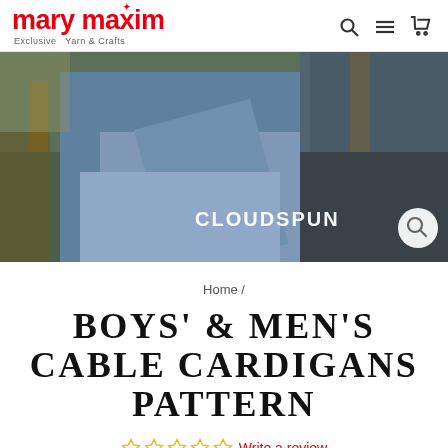mary maxim – Exclusive Yarn & Crafts
[Figure (photo): Banner photo of men wearing cable cardigans, seated outdoors on wooden furniture. Text overlay reads 'CLOUDSPUN' with a search icon.]
Home /
BOYS' & MEN'S CABLE CARDIGANS PATTERN
☆☆☆☆☆ Write a review
PDL1101AV